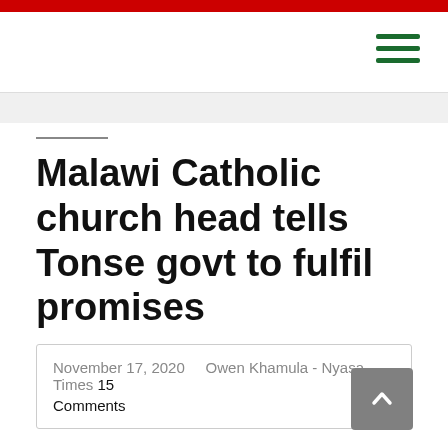Malawi Catholic church head tells Tonse govt to fulfil promises
November 17, 2020   Owen Khamula - Nyasa Times 15 Comments
The head of the  influential Catholic Church in Malawi has urged the Tonse Alliance government led by  President Lazarus Chakwera and his Vice President Saulos Chilima